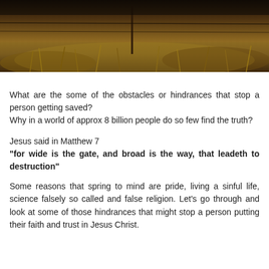[Figure (photo): Outdoor scene showing a fence or wire against a background of golden-brown grasses and vegetation in warm evening light.]
What are the some of the obstacles or hindrances that stop a person getting saved?
Why in a world of approx 8 billion people do so few find the truth?
Jesus said in Matthew 7
"for wide is the gate, and broad is the way, that leadeth to destruction"
Some reasons that spring to mind are pride, living a sinful life, science falsely so called and false religion. Let's go through and look at some of those hindrances that might stop a person putting their faith and trust in Jesus Christ.